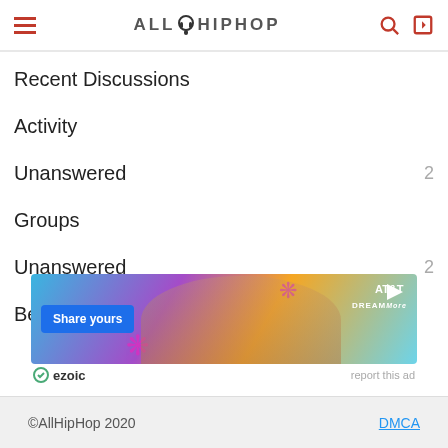AllHipHop
Recent Discussions
Activity
Unanswered  2
Groups
Unanswered  2
Best Of
[Figure (infographic): AT&T advertisement banner showing three women and 'Share yours' button with ezoic label and 'report this ad' link]
©AllHipHop 2020   DMCA